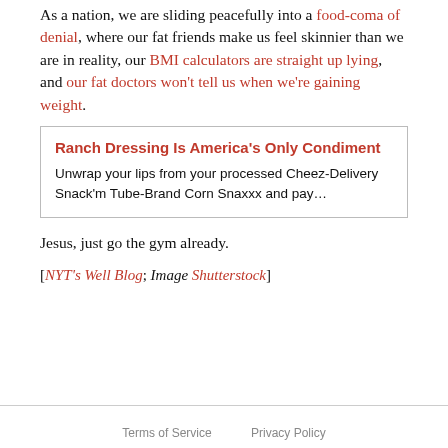As a nation, we are sliding peacefully into a food-coma of denial, where our fat friends make us feel skinnier than we are in reality, our BMI calculators are straight up lying, and our fat doctors won't tell us when we're gaining weight.
Ranch Dressing Is America's Only Condiment
Unwrap your lips from your processed Cheez-Delivery Snack'm Tube-Brand Corn Snaxxx and pay…
Jesus, just go the gym already.
[NYT's Well Blog; Image Shutterstock]
Terms of Service    Privacy Policy